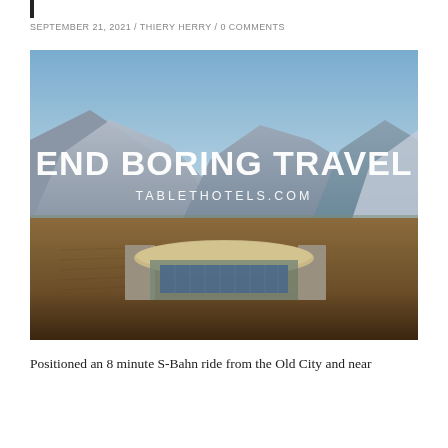SEPTEMBER 21, 2021 / THIERY HERRY / 0 COMMENTS
[Figure (photo): Landscape photo of a modern architectural structure set in a vineyard valley with mountains in the background at dusk. Overlaid text reads 'END BORING TRAVEL' and 'TABLETHOTELS.COM'.]
Positioned an 8 minute S-Bahn ride from the Old City and near